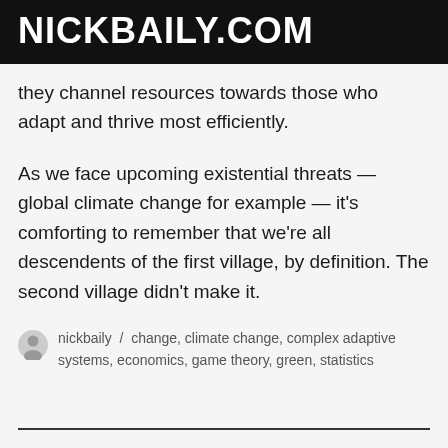NICKBAILY.COM
they channel resources towards those who adapt and thrive most efficiently.
As we face upcoming existential threats — global climate change for example — it's comforting to remember that we're all descendents of the first village, by definition. The second village didn't make it.
nickbaily / change, climate change, complex adaptive systems, economics, game theory, green, statistics